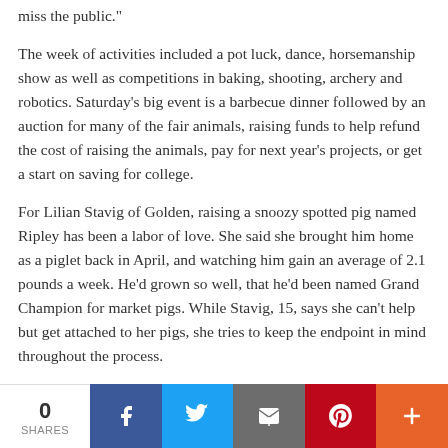miss the public."
The week of activities included a pot luck, dance, horsemanship show as well as competitions in baking, shooting, archery and robotics. Saturday's big event is a barbecue dinner followed by an auction for many of the fair animals, raising funds to help refund the cost of raising the animals, pay for next year's projects, or get a start on saving for college.
For Lilian Stavig of Golden, raising a snoozy spotted pig named Ripley has been a labor of love. She said she brought him home as a piglet back in April, and watching him gain an average of 2.1 pounds a week. He'd grown so well, that he'd been named Grand Champion for market pigs. While Stavig, 15, says she can't help but get attached to her pigs, she tries to keep the endpoint in mind throughout the process.
"I always try to remember the saying, 'you give a portion of your life to them and they give that life back to others."
Round Robin
[Figure (other): Social share bar with share count of 0, Facebook, Twitter, Email, Pinterest, and More buttons]